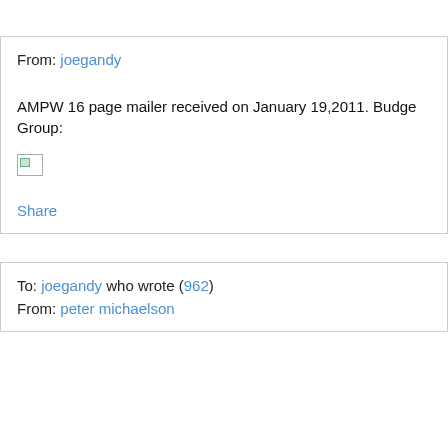From: joegandy
AMPW 16 page mailer received on January 19,2011. Budget Group:
[Figure (other): Broken/missing image placeholder (small icon with green corner)]
Share
To: joegandy who wrote (962)
From: peter michaelson